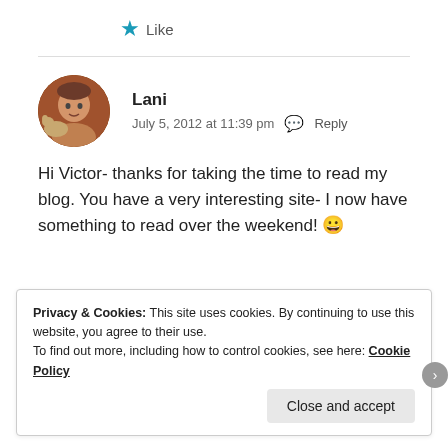★ Like
[Figure (photo): Circular avatar of commenter Lani, showing a person with a dog, warm tones]
Lani
July 5, 2012 at 11:39 pm  💬 Reply
Hi Victor- thanks for taking the time to read my blog. You have a very interesting site- I now have something to read over the weekend! 😀
Privacy & Cookies: This site uses cookies. By continuing to use this website, you agree to their use.
To find out more, including how to control cookies, see here: Cookie Policy
Close and accept